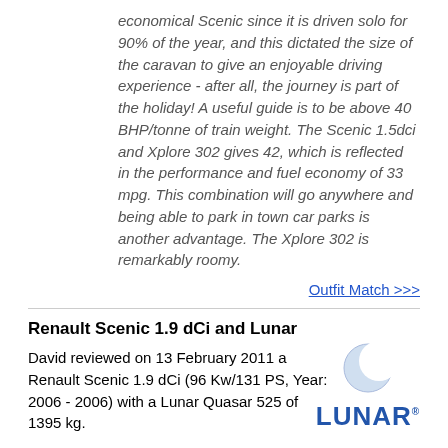economical Scenic since it is driven solo for 90% of the year, and this dictated the size of the caravan to give an enjoyable driving experience - after all, the journey is part of the holiday! A useful guide is to be above 40 BHP/tonne of train weight. The Scenic 1.5dci and Xplore 302 gives 42, which is reflected in the performance and fuel economy of 33 mpg. This combination will go anywhere and being able to park in town car parks is another advantage. The Xplore 302 is remarkably roomy.
Outfit Match >>>
Renault Scenic 1.9 dCi and Lunar
David reviewed on 13 February 2011 a Renault Scenic 1.9 dCi (96 Kw/131 PS, Year: 2006 - 2006) with a Lunar Quasar 525 of 1395 kg.